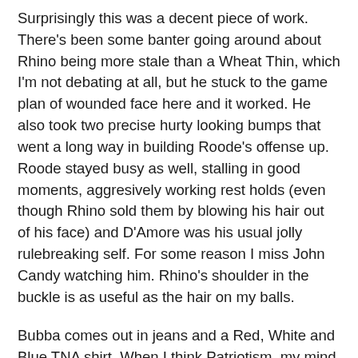Surprisingly this was a decent piece of work. There's been some banter going around about Rhino being more stale than a Wheat Thin, which I'm not debating at all, but he stuck to the game plan of wounded face here and it worked. He also took two precise hurty looking bumps that went a long way in building Roode's offense up. Roode stayed busy as well, stalling in good moments, aggresively working rest holds (even though Rhino sold them by blowing his hair out of his face) and D'Amore was his usual jolly rulebreaking self. For some reason I miss John Candy watching him. Rhino's shoulder in the buckle is as useful as the hair on my balls.
Bubba comes out in jeans and a Red, White and Blue TNA shirt. When I think Patriotism, my mind goes right to a 2nd string wrestling outfit. Kip shows some spring in his legs, as all 4 dudes take turn hitting dropkicks, Bubba's was the most laughable. Lot of punching in this, but not a lot of selling, even D-Von was light on the facials here. Kind of a blase affair that never really picked up. Ending actually more resembled a backstage social mixer than a wrestling match, as everyone was kind of milling in the ring trying to hit their